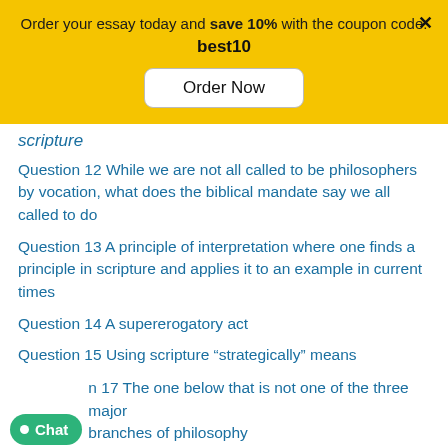Order your essay today and save 10% with the coupon code: best10
Order Now
scripture
Question 12 While we are not all called to be philosophers by vocation, what does the biblical mandate say we all called to do
Question 13 A principle of interpretation where one finds a principle in scripture and applies it to an example in current times
Question 14 A supererogatory act
Question 15 Using scripture “strategically” means
Question 16 When I offer you my thought-out, well-reasoned belief about an issue, I am giving you my
Question 17 The one below that is not one of the three major branches of philosophy